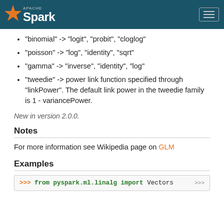Apache Spark
"binomial" -> "logit", "probit", "cloglog"
"poisson" -> "log", "identity", "sqrt"
"gamma" -> "inverse", "identity", "log"
"tweedie" -> power link function specified through "linkPower". The default link power in the tweedie family is 1 - variancePower.
New in version 2.0.0.
Notes
For more information see Wikipedia page on GLM
Examples
>>> from pyspark.ml.linalg import Vectors